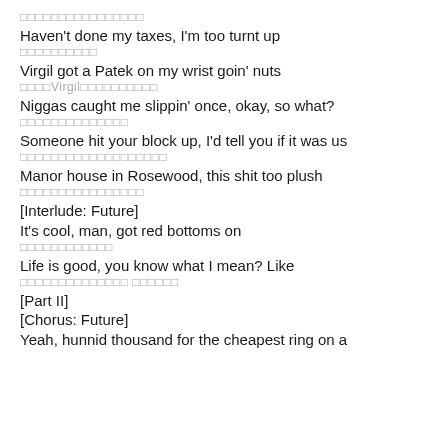□□□□□□□□□□□□□□□□
Haven't done my taxes, I'm too turnt up
□□□□□□□□□□
Virgil got a Patek on my wrist goin' nuts
□□□□Virgil□□□□□□□□□□
Niggas caught me slippin' once, okay, so what?
□□□□□□□□□□□□□□
Someone hit your block up, I'd tell you if it was us
□□□□□□□□□□□□□□□□□□□
Manor house in Rosewood, this shit too plush
□□□□□□□□□□□□□□□□
[Interlude: Future]
It's cool, man, got red bottoms on
□□□□□□□□□□□□
Life is good, you know what I mean? Like
□□□□□□□□□□□□□□ □□□□□□
[Part II]
[Chorus: Future]
Yeah, hunnid thousand for the cheapest ring on a